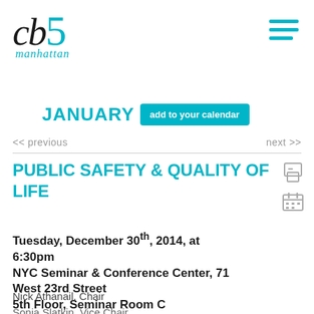[Figure (logo): CB5 Manhattan logo with teal '5' and italic 'manhattan' text below]
JANUARY
add to your calendar
<< previous    next >>
PUBLIC SAFETY & QUALITY OF LIFE
Tuesday, December 30th, 2014, at 6:30pm
NYC Seminar & Conference Center, 71 West 23rd Street
5th Floor, Seminar Room C
Nick Athanail, Chair
Sonia Slatkin, Vice Chair